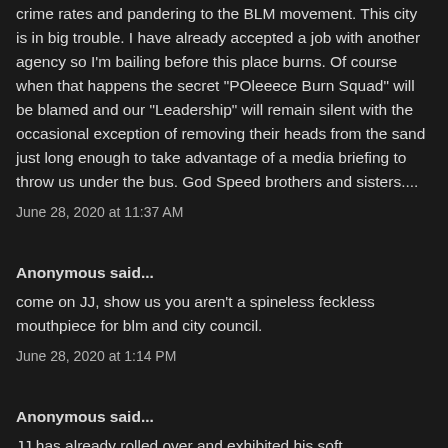crime rates and pandering to the BLM movement. This city is in big trouble. I have already accepted a job with another agency so I'm bailing before this place burns. Of course when that happens the secret "POleeece Burn Squad" will be blamed and our "Leadership" will remain silent with the occasional exception of removing their heads from the sand just long enough to take advantage of a media briefing to throw us under the bus. God Speed brothers and sisters....
June 28, 2020 at 11:37 AM
Anonymous said...
come on JJ, show us you aren't a spineless feckless mouthpiece for blm and city council.
June 28, 2020 at 1:14 PM
Anonymous said...
JJ has already rolled over and exhibited his soft